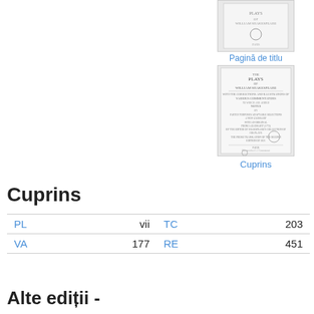[Figure (photo): Small thumbnail of a book page, grey toned]
Pagină de titlu
[Figure (photo): Scanned title page of 'The Plays of William Shakespeare' with stamp and publication details]
Cuprins
Cuprins
| PL | vii | TC | 203 |
| VA | 177 | RE | 451 |
Alte ediții -